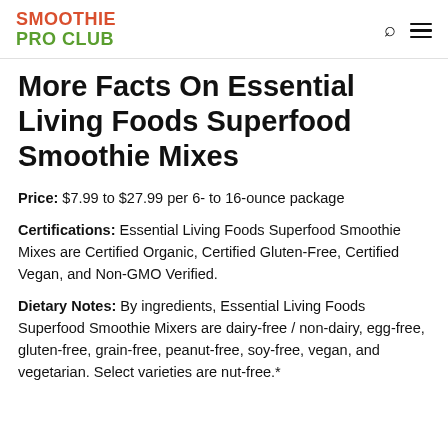SMOOTHIE PRO CLUB
More Facts On Essential Living Foods Superfood Smoothie Mixes
Price: $7.99 to $27.99 per 6- to 16-ounce package
Certifications: Essential Living Foods Superfood Smoothie Mixes are Certified Organic, Certified Gluten-Free, Certified Vegan, and Non-GMO Verified.
Dietary Notes: By ingredients, Essential Living Foods Superfood Smoothie Mixers are dairy-free / non-dairy, egg-free, gluten-free, grain-free, peanut-free, soy-free, vegan, and vegetarian. Select varieties are nut-free.*